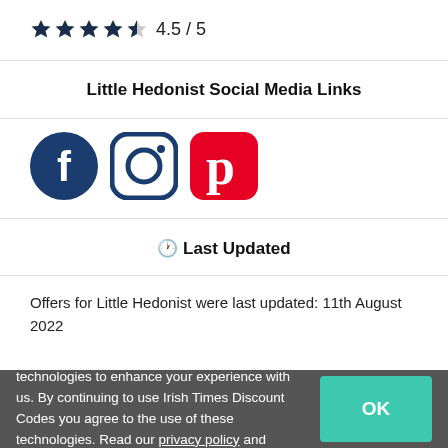[Figure (other): Star rating: 4.5 out of 5 stars with text '4.5 / 5']
Little Hedonist Social Media Links
[Figure (other): Social media icons: Facebook, Instagram, Pinterest]
🕐 Last Updated
Offers for Little Hedonist were last updated: 11th August 2022
Our website uses cookies and similar technologies to enhance your experience with us. By continuing to use Irish Times Discount Codes you agree to the use of these technologies. Read our privacy policy and cookie policy for more information.